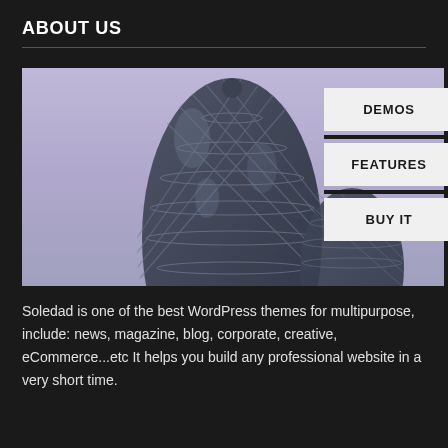ABOUT US
[Figure (photo): Photograph of the Gherkin building (30 St Mary Axe) in London with a lavender/purple sky background, with navigation tabs (DEMOS, FEATURES, BUY IT) overlaid on the right side.]
Soledad is one of the best WordPress themes for multipurpose, include: news, magazine, blog, corporate, creative, eCommerce...etc It helps you build any professional website in a very short time.